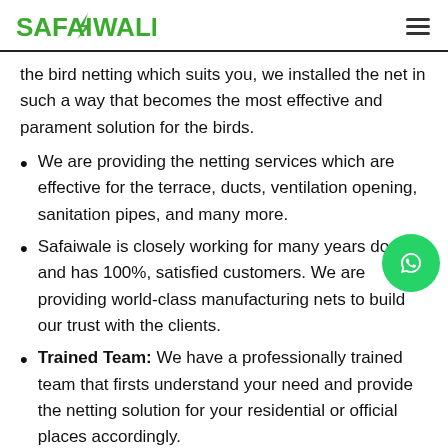SAFAIWALE
the bird netting which suits you, we installed the net in such a way that becomes the most effective and parament solution for the birds.
We are providing the netting services which are effective for the terrace, ducts, ventilation opening, sanitation pipes, and many more.
Safaiwale is closely working for many years domain and has 100%, satisfied customers. We are providing world-class manufacturing nets to build our trust with the clients.
Trained Team: We have a professionally trained team that firsts understand your need and provide the netting solution for your residential or official places accordingly.